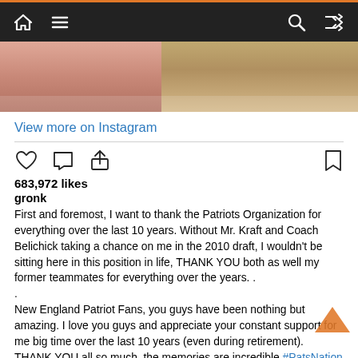Navigation bar with home, menu, search, and shuffle icons
[Figure (photo): Cropped photo showing two people close together, one wearing blue, blurred/cropped at top]
View more on Instagram
[Figure (infographic): Instagram action icons: heart (like), comment bubble, share/upload arrow on left; bookmark on right]
683,972 likes
gronk
First and foremost, I want to thank the Patriots Organization for everything over the last 10 years. Without Mr. Kraft and Coach Belichick taking a chance on me in the 2010 draft, I wouldn't be sitting here in this position in life, THANK YOU both as well my former teammates for everything over the years. .
.
New England Patriot Fans, you guys have been nothing but amazing. I love you guys and appreciate your constant support for me big time over the last 10 years (even during retirement). THANK YOU all so much, the memories are incredible #PatsNation